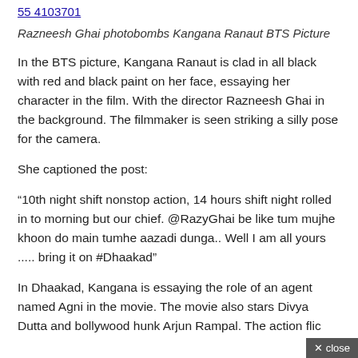55 4103701
Razneesh Ghai photobombs Kangana Ranaut BTS Picture
In the BTS picture, Kangana Ranaut is clad in all black with red and black paint on her face, essaying her character in the film. With the director Razneesh Ghai in the background. The filmmaker is seen striking a silly pose for the camera.
She captioned the post:
“10th night shift nonstop action, 14 hours shift night rolled in to morning but our chief. @RazyGhai be like tum mujhe khoon do main tumhe aazadi dunga.. Well I am all yours ..... bring it on #Dhaakad”
In Dhaakad, Kangana is essaying the role of an agent named Agni in the movie. The movie also stars Divya Dutta and bollywood hunk Arjun Rampal. The action flic